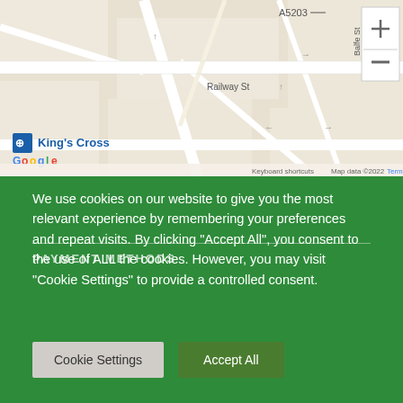[Figure (map): Google Maps screenshot showing King's Cross area in London, with streets including Railway St, Balfe St, A5203, Collier St, Northdown St, and King's Cross station marker. Includes zoom controls (+/-) and Google branding with copyright 2022.]
PAYMENT METHODS
We use cookies on our website to give you the most relevant experience by remembering your preferences and repeat visits. By clicking "Accept All", you consent to the use of ALL the cookies. However, you may visit "Cookie Settings" to provide a controlled consent.
Cookie Settings
Accept All